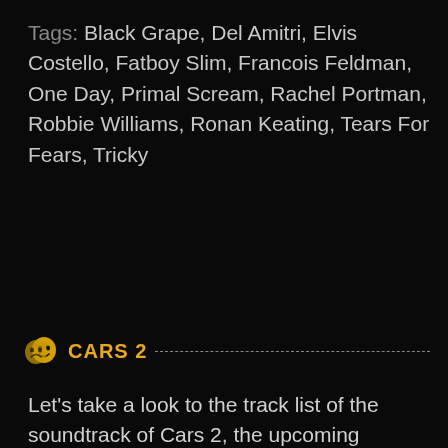Tags: Black Grape, Del Amitri, Elvis Costello, Fatboy Slim, Francois Feldman, One Day, Primal Scream, Rachel Portman, Robbie Williams, Ronan Keating, Tears For Fears, Tricky
CARS 2
Let's take a look to the track list of the soundtrack of Cars 2, the upcoming animated movie sequel to Disney Pixar's Cars 2:
Cars 2 Original Motion Picture Soundtrack